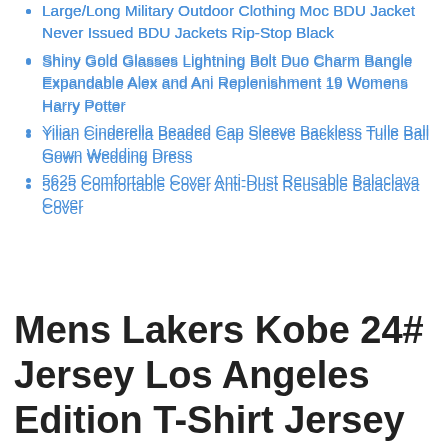Large/Long Military Outdoor Clothing Moc BDU Jacket Never Issued BDU Jackets Rip-Stop Black
Shiny Gold Glasses Lightning Bolt Duo Charm Bangle Expandable Alex and Ani Replenishment 19 Womens Harry Potter
Yilian Cinderella Beaded Cap Sleeve Backless Tulle Ball Gown Wedding Dress
5625 Comfortable Cover Anti-Dust Reusable Balaclava Cover
Mens Lakers Kobe 24# Jersey Los Angeles Edition T-Shirt Jersey Short Sleeve Sport Top